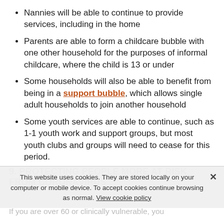Nannies will be able to continue to provide services, including in the home
Parents are able to form a childcare bubble with one other household for the purposes of informal childcare, where the child is 13 or under
Some households will also be able to benefit from being in a support bubble, which allows single adult households to join another household
Some youth services are able to continue, such as 1-1 youth work and support groups, but most youth clubs and groups will need to cease for this period.
9. PROTECTING PEOPLE MORE AT RISK FROM CORONAVIRUS
This website uses cookies. They are stored locally on your computer or mobile device. To accept cookies continue browsing as normal. View cookie policy
If you are over 60 or clinically vulnerable, you